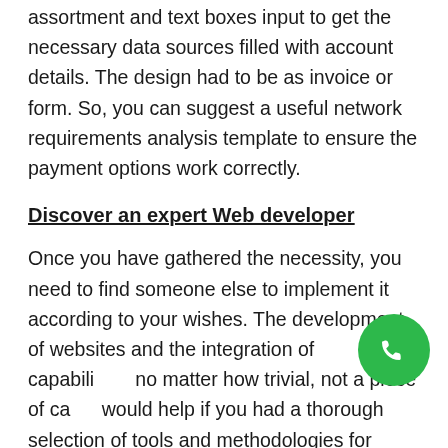assortment and text boxes input to get the necessary data sources filled with account details. The design had to be as invoice or form. So, you can suggest a useful network requirements analysis template to ensure the payment options work correctly.
Discover an expert Web developer
Once you have gathered the necessity, you need to find someone else to implement it according to your wishes. The development of websites and the integration of capabilities, no matter how trivial, not a piece of cake, would help if you had a thorough selection of tools and methodologies for website creation. As a result, Dubai's best website development
[Figure (illustration): Green circular phone/call button icon with white telephone handset symbol]